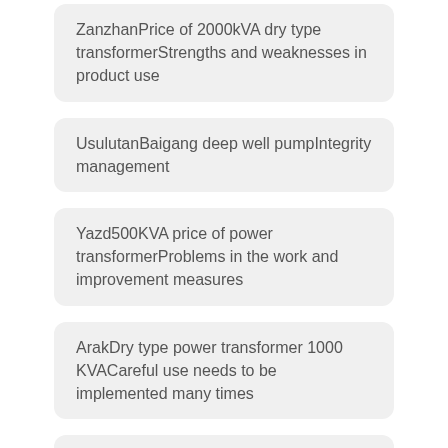ZanzhanPrice of 2000kVA dry type transformerStrengths and weaknesses in product use
UsulutanBaigang deep well pumpIntegrity management
Yazd500KVA price of power transformerProblems in the work and improvement measures
ArakDry type power transformer 1000 KVACareful use needs to be implemented many times
Rivne Distribution transformer plantMaintenance should be